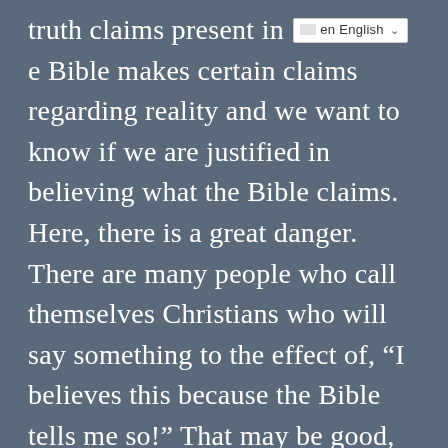truth claims present in [en English ▾] e Bible makes certain claims regarding reality and we want to know if we are justified in believing what the Bible claims. Here, there is a great danger. There are many people who call themselves Christians who will say something to the effect of, “I believes this because the Bible tells me so!” That may be good, but the follow up question is always going to be, “Well, how can I know that I can actually believe the Bible?” We live in a culture where all authority is questioned and